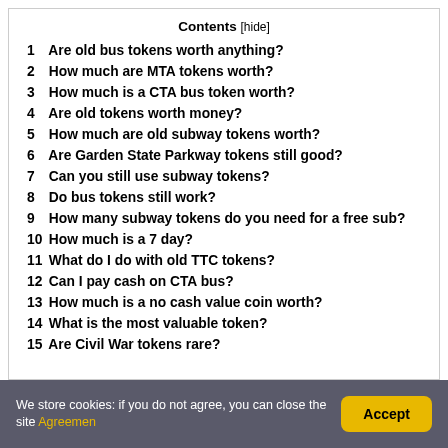Contents [hide]
1 Are old bus tokens worth anything?
2 How much are MTA tokens worth?
3 How much is a CTA bus token worth?
4 Are old tokens worth money?
5 How much are old subway tokens worth?
6 Are Garden State Parkway tokens still good?
7 Can you still use subway tokens?
8 Do bus tokens still work?
9 How many subway tokens do you need for a free sub?
10 How much is a 7 day?
11 What do I do with old TTC tokens?
12 Can I pay cash on CTA bus?
13 How much is a no cash value coin worth?
14 What is the most valuable token?
15 Are Civil War tokens rare?
We store cookies: if you do not agree, you can close the site Agreemen